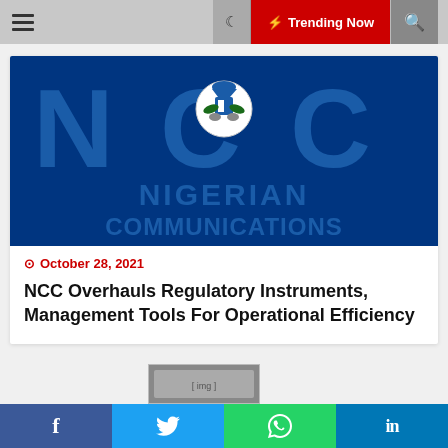Trending Now
[Figure (logo): NCC Nigerian Communications Commission logo — large blue letters NCC with coat of arms emblem, and text NIGERIAN COMMUNICATIONS below]
October 28, 2021
NCC Overhauls Regulatory Instruments, Management Tools For Operational Efficiency